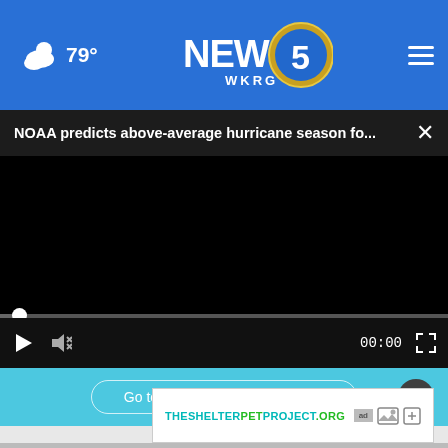79° NEWS 5 WKRG
NOAA predicts above-average hurricane season fo...
[Figure (screenshot): Black video player area with scrubber bar and playback controls showing 00:00]
[Figure (screenshot): Retirement ad banner with teal background: Go to AceYourRetirement.org → with close button]
[Figure (screenshot): THESHELTERPETPROJECT.ORG advertisement banner with ad badge icons]